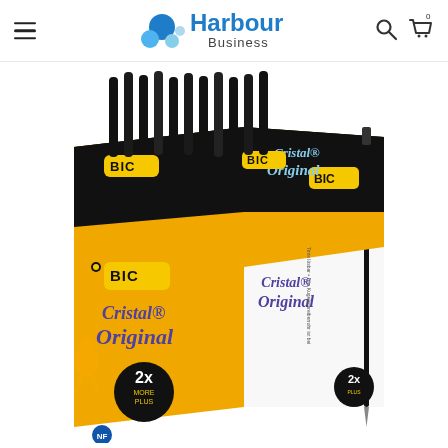Harbour Business — navigation header with hamburger menu, logo, search and cart icons
[Figure (photo): Product photo of BIC Cristal Original ballpoint pens box set with black pens displayed in an open orange and black cardboard display box. The box features the BIC logo, 'Cristal Original' branding, '2x MORE PLUS' badge, and NF certification mark.]